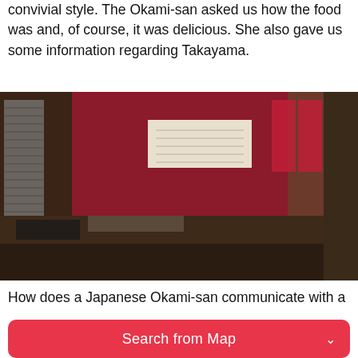convivial style. The Okami-san asked us how the food was and, of course, it was delicious. She also gave us some information regarding Takayama.
[Figure (photo): An elderly Japanese woman in a red cardigan standing behind a counter in a traditional Japanese restaurant or inn interior, with red walls, wooden paneling, and Japanese calligraphy signs in the background.]
How does a Japanese Okami-san communicate with a
Search from Map